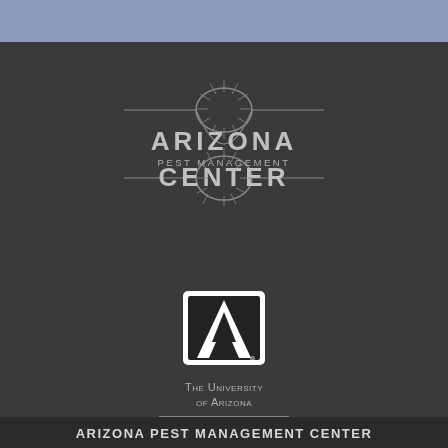[Figure (logo): Arizona Pest Management Center logo — oval starburst emblem with horizontal rules and text ARIZONA PEST MANAGEMENT CENTER in silver on dark background]
[Figure (logo): University of Arizona block-A logo with 'The University of Arizona' and 'College of Agriculture & Life Sciences' text in silver small-caps on dark background]
ARIZONA PEST MANAGEMENT CENTER